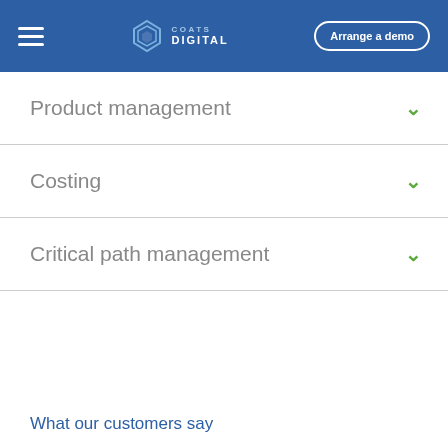Coats Digital — Arrange a demo
Product management
Costing
Critical path management
What our customers say